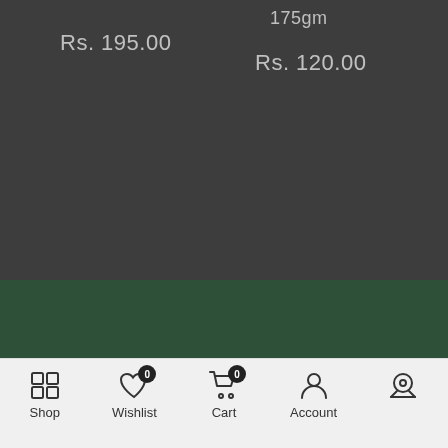Rs. 195.00
175gm
Rs. 120.00
[Figure (screenshot): Green add-to-cart bar with scroll-to-top button]
− 1 +
ADD TO CART
Shop  Wishlist  Cart  Account  (map icon)